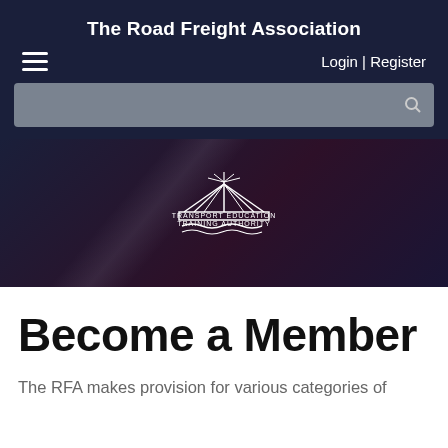The Road Freight Association
Login | Register
[Figure (logo): Transport Education Training Authority (TETA) logo with book and rays icon]
Become a Member
The RFA makes provision for various categories of